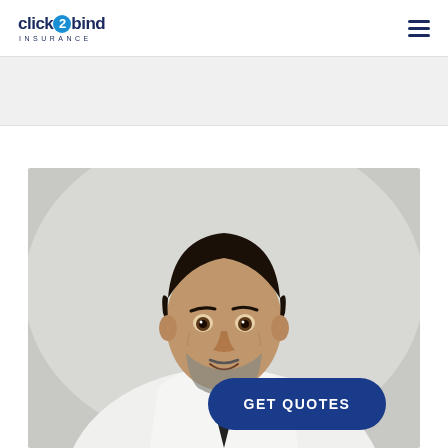click2bind INSURANCE
[Figure (photo): Middle-aged man with dark hair and salt-and-pepper beard wearing a white dress shirt and black tie, looking towards the camera over his shoulder against a gray background. A large dark blue rounded 'GET QUOTES' button overlay appears in the lower right of the image.]